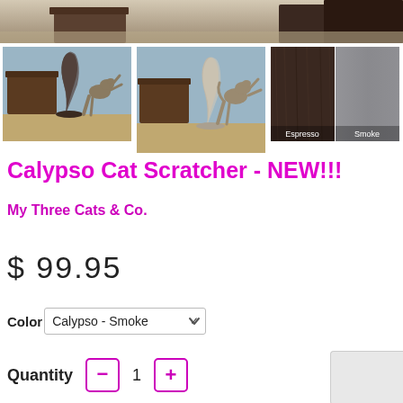[Figure (photo): Top banner showing partial view of a room with wooden furniture and cat scratcher products]
[Figure (photo): Thumbnail 1: Cat scratching dark Calypso scratcher in a blue-walled room with wood furniture]
[Figure (photo): Thumbnail 2: Cat scratching light/smoke Calypso scratcher in same blue-walled room]
[Figure (photo): Color swatches showing Espresso (dark brown) and Smoke (gray) options]
Calypso Cat Scratcher - NEW!!!
My Three Cats & Co.
$ 99.95
Color Calypso - Smoke
Quantity 1